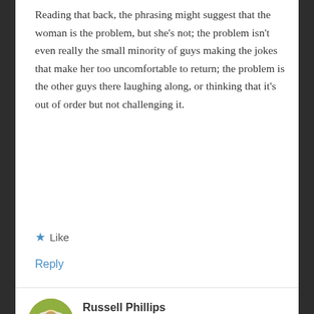Reading that back, the phrasing might suggest that the woman is the problem, but she’s not; the problem isn’t even really the small minority of guys making the jokes that make her too uncomfortable to return; the problem is the other guys there laughing along, or thinking that it’s out of order but not challenging it.
★ Like
Reply
Russell Phillips
JUNE 3, 2018 AT 6:39 AM
Completely agree. I will add that I’d like to see the